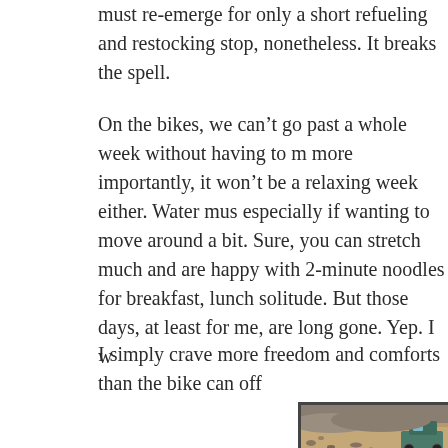must re-emerge for only a short refueling and restocking stop, nonetheless. It breaks the spell.
On the bikes, we can't go past a whole week without having to more importantly, it won't be a relaxing week either. Water mus especially if wanting to move around a bit. Sure, you can stretch much and are happy with 2-minute noodles for breakfast, lunch solitude. But those days, at least for me, are long gone. Yep. I w
I simply crave more freedom and comforts than the bike can off
[Figure (photo): A vehicle (appears to be a 4x4 or expedition vehicle) parked on a rocky, Mars-like desert landscape with reddish-brown gravel and stones.]